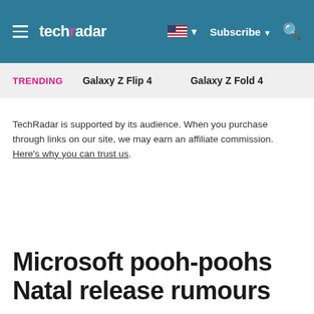techradar — Subscribe
TRENDING   Galaxy Z Flip 4   Galaxy Z Fold 4
TechRadar is supported by its audience. When you purchase through links on our site, we may earn an affiliate commission. Here's why you can trust us.
Microsoft pooh-poohs Natal release rumours